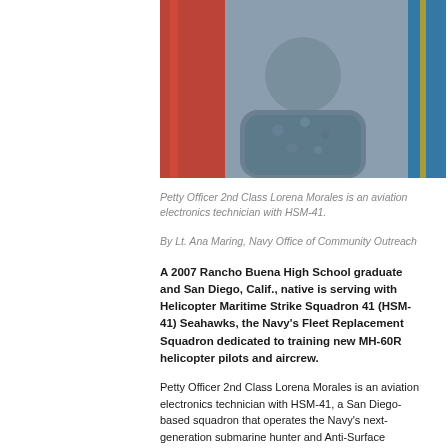[Figure (photo): Portrait photo of Petty Officer 2nd Class Lorena Morales in Navy uniform with flags in background]
Petty Officer 2nd Class Lorena Morales is an aviation electronics technician with HSM-41.
By Lt. Ana Maring, Navy Office of Community Outreach
A 2007 Rancho Buena High School graduate and San Diego, Calif., native is serving with Helicopter Maritime Strike Squadron 41 (HSM-41) Seahawks, the Navy's Fleet Replacement Squadron dedicated to training new MH-60R helicopter pilots and aircrew.
Petty Officer 2nd Class Lorena Morales is an aviation electronics technician with HSM-41, a San Diego-based squadron that operates the Navy's next-generation submarine hunter and Anti-Surface...